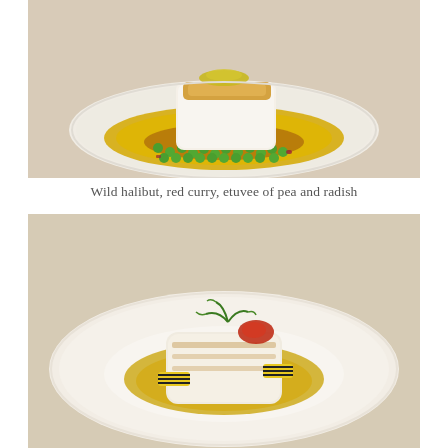[Figure (photo): Fine dining plate: a seared fillet of wild halibut on a white plate, surrounded by green peas and a golden-yellow curry sauce with red accents.]
Wild halibut, red curry, etuvee of pea and radish
[Figure (photo): Fine dining plate: a white fish fillet (halibut) on a white oval plate, garnished with decorative yellow-and-black striped elements, a roasted red tomato, green herb sprigs, and a pool of golden olive oil sauce.]